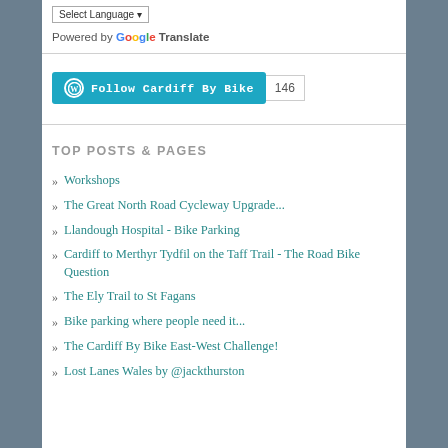[Figure (screenshot): Select Language dropdown box with Google Translate branding below it]
Powered by Google Translate
[Figure (screenshot): Follow Cardiff By Bike button (WordPress style, teal background) with follower count badge showing 146]
TOP POSTS & PAGES
Workshops
The Great North Road Cycleway Upgrade...
Llandough Hospital - Bike Parking
Cardiff to Merthyr Tydfil on the Taff Trail - The Road Bike Question
The Ely Trail to St Fagans
Bike parking where people need it...
The Cardiff By Bike East-West Challenge!
Lost Lanes Wales by @jackthurston